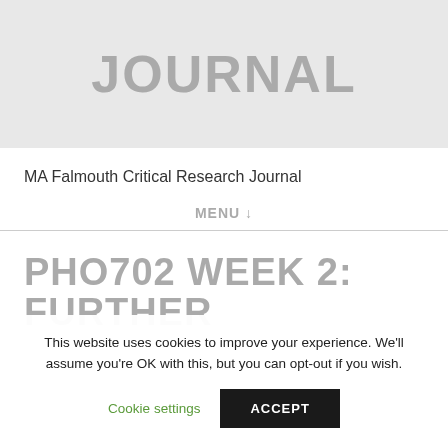JOURNAL
MA Falmouth Critical Research Journal
MENU ↓
PHO702 WEEK 2: FURTHER
This website uses cookies to improve your experience. We'll assume you're OK with this, but you can opt-out if you wish.
Cookie settings   ACCEPT